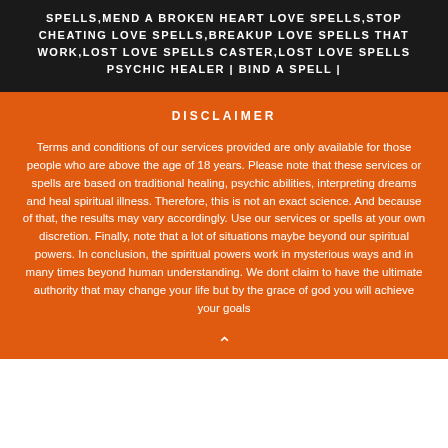SPELLS,MEND A BROKEN HEART LOVE SPELLS,STOP CHEATING LOVE SPELLS,BREAKUP LOVE SPELLS THAT WORK,LOST LOVE SPELLS CASTER,LOST LOVE SPELLS PSYCHIC HEALER | BIND A SPELL |
DISCLAIMER
Terms and conditions of our services provided are only available for those people who are above the age of 18 years. Please note that these services or spells are based on traditional healing, psychic abilities, interpreting dreams and heal spiritual illness. Therefore, this is not an exact science. And because of that, the results may vary accordingly. Use our services or spells at your own discretion. Finally, note that a lot of situations maybe beyond our spiritual powers. In conclusion, the spiritual powers work in mysterious ways and in many times beyond human understanding. We dont claim to have the ultimate authority that may change your life but by the grace of god you will achieve your goals